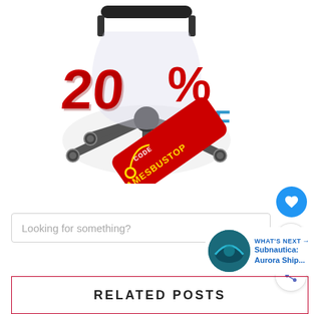[Figure (photo): Product image of a gaming chair base (bottom view with casters and star base) overlaid with a red 3D '20% OFF' discount graphic and a red price tag reading 'CODE GAMESBUSTOP']
Looking for something?
WHAT'S NEXT → Subnautica: Aurora Ship...
RELATED POSTS